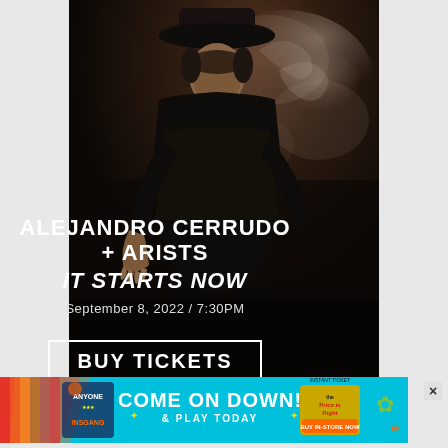[Figure (photo): Dark atmospheric photo of a male dancer/performer wearing a black hat and black outfit, crouching low with one hand extended toward the ground, with dramatic smoke/mist around him against a dark brown background.]
ALEJANDRO CERRUDO + ARISTS IT STARTS NOW
September 8, 2022 / 7:30PM
BUY TICKETS
[Figure (infographic): Colorful advertisement banner for 'The Price is Right' game show with text 'COME ON DOWN! & PLAY TODAY', 'INSTANT TICKET', 'BUY IN-STORE NOW', rainbow stripes, and various colorful graphic elements on a teal/cyan background.]